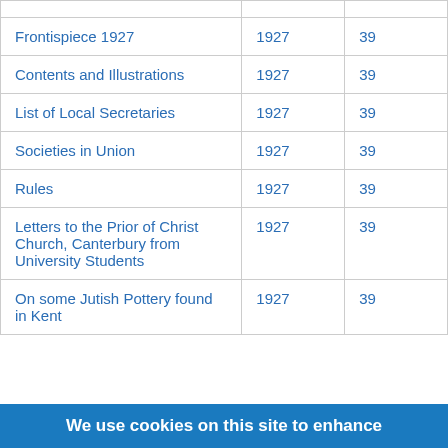|  |  |  |
| Frontispiece 1927 | 1927 | 39 |
| Contents and Illustrations | 1927 | 39 |
| List of Local Secretaries | 1927 | 39 |
| Societies in Union | 1927 | 39 |
| Rules | 1927 | 39 |
| Letters to the Prior of Christ Church, Canterbury from University Students | 1927 | 39 |
| On some Jutish Pottery found in Kent | 1927 | 39 |
We use cookies on this site to enhance